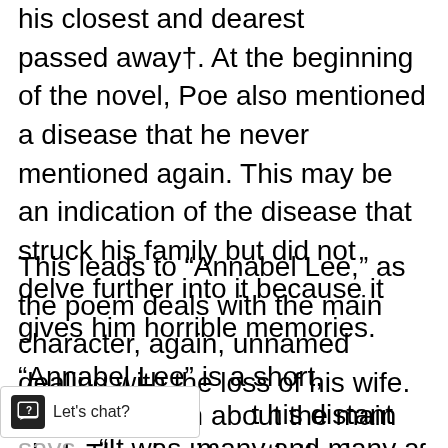his closest and dearest passed away†. At the beginning of the novel, Poe also mentioned a disease that he never mentioned again. This may be an indication of the disease that struck his family but did not delve further into it because it gives him horrible memories.
This leads to “Annabel Lee,” as the poem deals with the main character, again, unnamed dealing with the loss of his wife.
“Annabel Lee” is a short, romantic poem about the main character dealing with the loss of his wife. The very first line shows that the narrator is unreliable because he’s [talking abou]t his distant past. The narrator says, “It was many and many a year ago, in the kingdom by the sea” (Par. 1-2). The